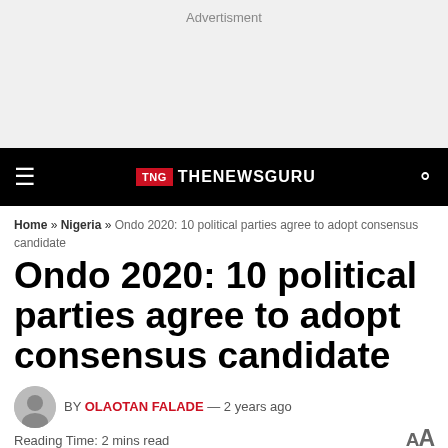Advertisment
TNG THENEWSGURU
Home » Nigeria » Ondo 2020: 10 political parties agree to adopt consensus candidate
Ondo 2020: 10 political parties agree to adopt consensus candidate
BY OLAOTAN FALADE — 2 years ago
Reading Time: 2 mins read